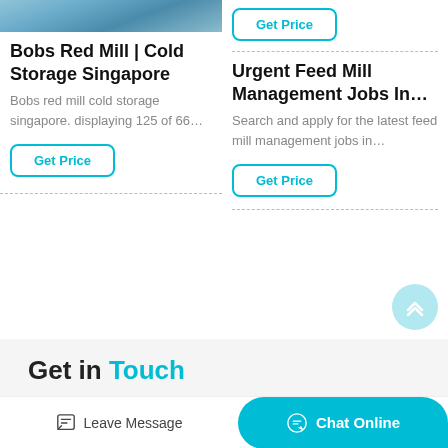[Figure (photo): Photograph at top of left column showing industrial/storage scene with blue tones]
Bobs Red Mill | Cold Storage Singapore
Bobs red mill cold storage singapore. displaying 125 of 66…
Get Price
Get Price
Urgent Feed Mill Management Jobs In…
Search and apply for the latest feed mill management jobs in…
Get Price
Get in Touch
Leave Message
Chat Online